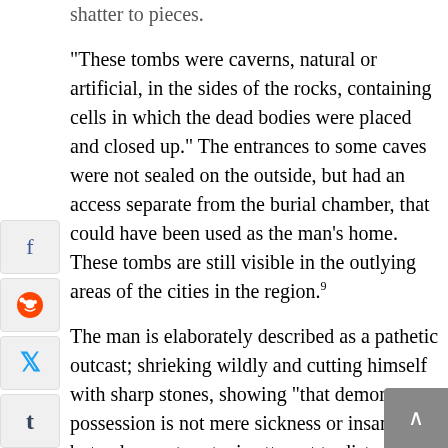shatter to pieces.
“These tombs were caverns, natural or artificial, in the sides of the rocks, containing cells in which the dead bodies were placed and closed up.” The entrances to some caves were not sealed on the outside, but had an access separate from the burial chamber, that could have been used as the man’s home. These tombs are still visible in the outlying areas of the cities in the region.⁹
The man is elaborately described as a pathetic outcast; shrieking wildly and cutting himself with sharp stones, showing “that demon possession is not mere sickness or insanity but a desperate satanic attempt to distort and destroy God’s image in man.”¹⁰
There is one contradiction that stumbles